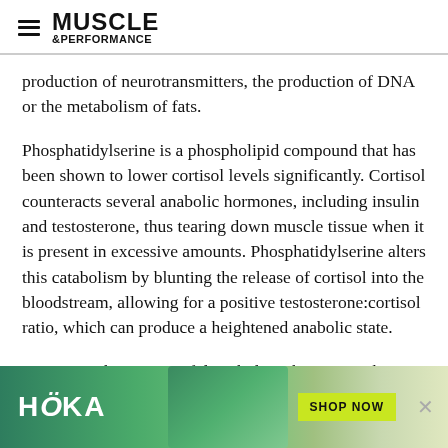MUSCLE & PERFORMANCE
production of neurotransmitters, the production of DNA or the metabolism of fats.
Phosphatidylserine is a phospholipid compound that has been shown to lower cortisol levels significantly. Cortisol counteracts several anabolic hormones, including insulin and testosterone, thus tearing down muscle tissue when it is present in excessive amounts. Phosphatidylserine alters this catabolism by blunting the release of cortisol into the bloodstream, allowing for a positive testosterone:cortisol ratio, which can produce a heightened anabolic state.
Lit-Up combines powerful anabolic substrates with a highly targeted stimulant base, creating a formulation that dramatically...
[Figure (other): HOKA advertisement banner with runner photo, HOKA logo, SHOP NOW button, and close X button]